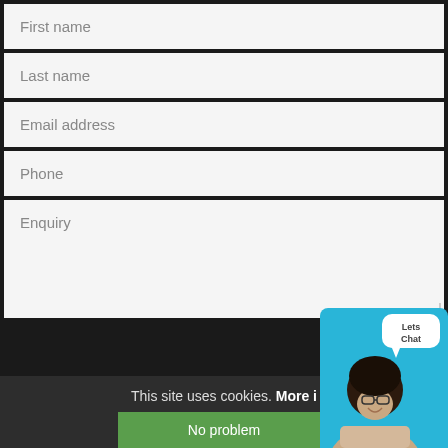First name
Last name
Email address
Phone
Enquiry
This site uses cookies. More i…
No problem
[Figure (illustration): Chat widget with a person and 'Lets Chat' speech bubble on a cyan background]